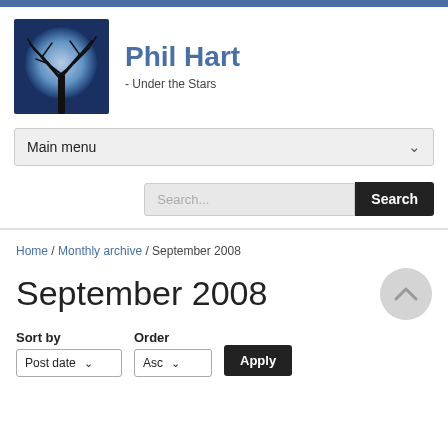[Figure (logo): Site logo: silhouette of a bare tree against a large blue moon on dark blue background]
Phil Hart
- Under the Stars
Main menu
Search...
Search
Home / Monthly archive / September 2008
September 2008
Sort by  Order
Post date ▼  Asc ▼  Apply